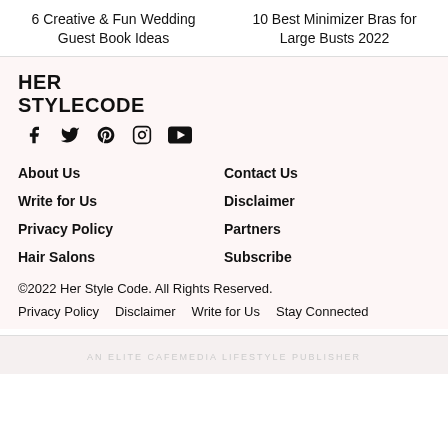6 Creative & Fun Wedding Guest Book Ideas    10 Best Minimizer Bras for Large Busts 2022
HER STYLECODE
[Figure (infographic): Social media icons: Facebook, Twitter, Pinterest, Instagram, YouTube]
About Us
Contact Us
Write for Us
Disclaimer
Privacy Policy
Partners
Hair Salons
Subscribe
©2022 Her Style Code. All Rights Reserved.
Privacy Policy   Disclaimer   Write for Us   Stay Connected
AN ELITE CAFEMEDIA LIFESTYLE PUBLISHER